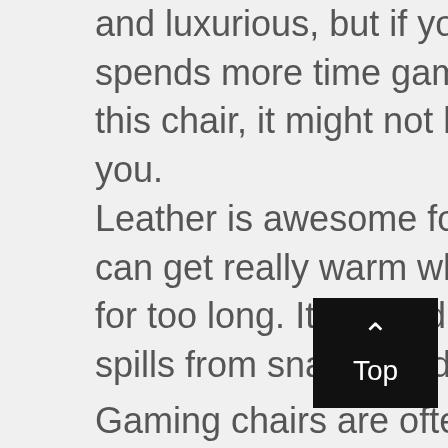and luxurious, but if you're someone who spends more time gaming than working in this chair, it might not be the best choice for you.
Leather is awesome for an office chair, but it can get really warm when you're sitting in it for too long. It's also difficult to clean, and any spills from snacks or drinks will be a disaster.
Gaming chairs are often made from